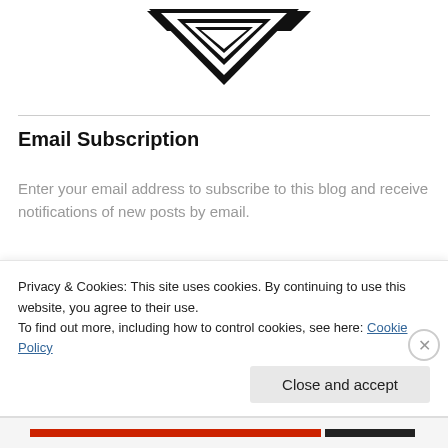[Figure (logo): Decorative logo with black triangular arrow/diamond shapes pointing downward, arranged symmetrically]
Email Subscription
Enter your email address to subscribe to this blog and receive notifications of new posts by email.
Privacy & Cookies: This site uses cookies. By continuing to use this website, you agree to their use.
To find out more, including how to control cookies, see here: Cookie Policy
Close and accept